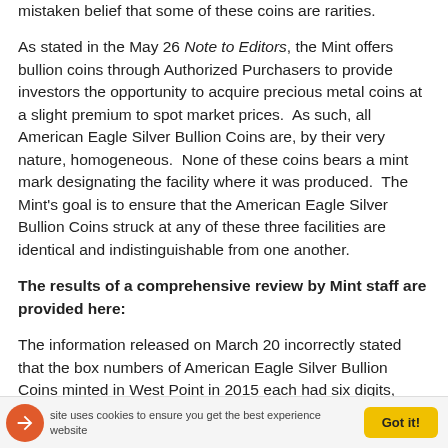mistaken belief that some of these coins are rarities.
As stated in the May 26 Note to Editors, the Mint offers bullion coins through Authorized Purchasers to provide investors the opportunity to acquire precious metal coins at a slight premium to spot market prices.  As such, all American Eagle Silver Bullion Coins are, by their very nature, homogeneous.  None of these coins bears a mint mark designating the facility where it was produced.  The Mint’s goal is to ensure that the American Eagle Silver Bullion Coins struck at any of these three facilities are identical and indistinguishable from one another.
The results of a comprehensive review by Mint staff are provided here:
The information released on March 20 incorrectly stated that the box numbers of American Eagle Silver Bullion Coins minted in West Point in 2015 each had six digits,
site uses cookies to ensure you get the best experience website